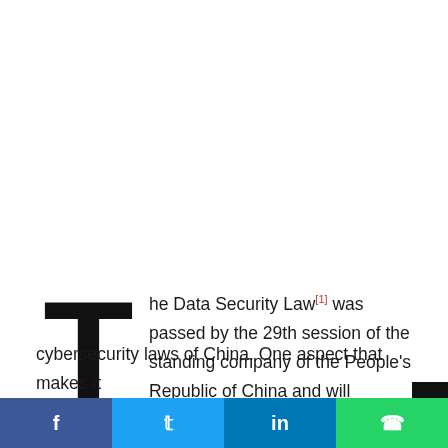The Data Security Law[1] was passed by the 29th session of the standing company of the People's Republic of China and will function as one of the pillars of cybersecurity laws of China. One aspect that makes it